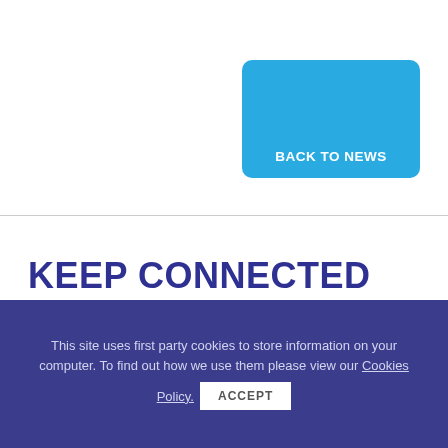[Figure (other): Cyan/sky-blue rounded rectangle button with text 'BACK TO NEWS' in white bold uppercase at the bottom]
KEEP CONNECTED WITH US
NAME
This site uses first party cookies to store information on your computer. To find out how we use them please view our Cookies Policy.
ACCEPT